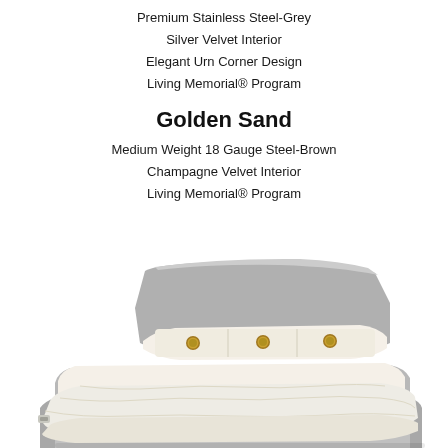Premium Stainless Steel-Grey
Silver Velvet Interior
Elegant Urn Corner Design
Living Memorial® Program
Golden Sand
Medium Weight 18 Gauge Steel-Brown
Champagne Velvet Interior
Living Memorial® Program
[Figure (photo): Open casket with silver/grey exterior and white velvet interior, showing pillowed interior lining with three gold medallion buttons, and white satin bedding draped over the lower half. Silver hardware latch visible on the side.]